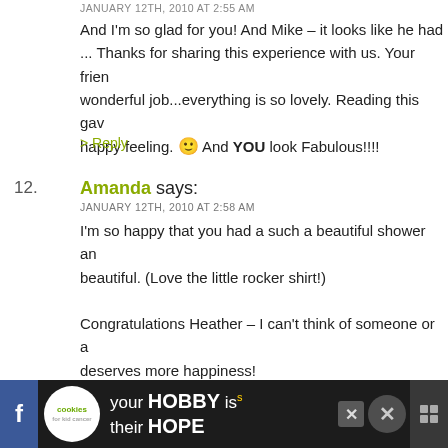JANUARY 12TH, 2010 AT 2:55 AM
And I'm so glad for you! And Mike – it looks like he had ... Thanks for sharing this experience with us. Your frien wonderful job...everything is so lovely. Reading this gav happy feeling. 🙂 And YOU look Fabulous!!!!
> Reply
12. Amanda says:
JANUARY 12TH, 2010 AT 2:58 AM
I'm so happy that you had a such a beautiful shower an beautiful. (Love the little rocker shirt!)
Congratulations Heather – I can't think of someone or a deserves more happiness!
Waiting anxiously on Binky (and her name's) arrival!
.-= Amanda's last blog ..God, I am boring... =-.
> Reply
13. Lynn from For Love or Funny says: